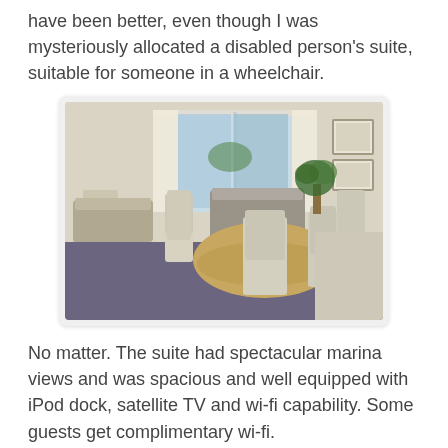have been better, even though I was mysteriously allocated a disabled person's suite, suitable for someone in a wheelchair.
[Figure (photo): Interior photo of a hotel suite showing a dining table with chairs, sofas in the background, large windows with light curtains, and framed artwork on the wall.]
No matter. The suite had spectacular marina views and was spacious and well equipped with iPod dock, satellite TV and wi-fi capability. Some guests get complimentary wi-fi.
Just a short walk from Launceston town centre and 15 minutes drive from Launceston Airport the hotel is built in the shape of a ship on the site of an old dry dock.
And the accommodation is very stylish. You can pick up a